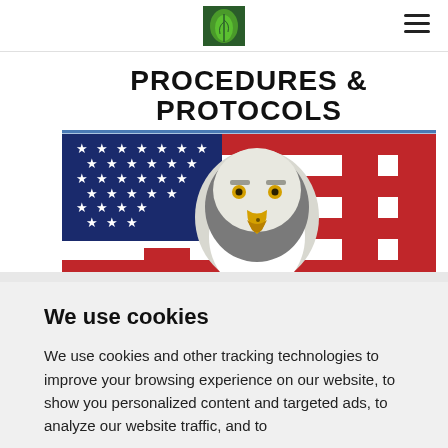Navigation header with logo and hamburger menu
[Figure (illustration): Book cover or banner showing 'PROCEDURES & PROTOCOLS' text over an American flag with a bald eagle in the center foreground]
We use cookies
We use cookies and other tracking technologies to improve your browsing experience on our website, to show you personalized content and targeted ads, to analyze our website traffic, and to